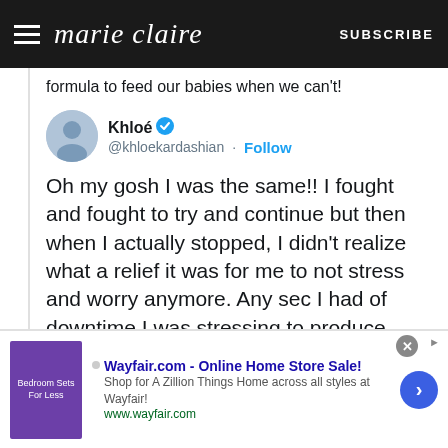marie claire | SUBSCRIBE
formula to feed our babies when we can't!
Khloé @khloekardashian · Follow
Oh my gosh I was the same!! I fought and fought to try and continue but then when I actually stopped, I didn't realize what a relief it was for me to not stress and worry anymore. Any sec I had of downtime I was stressing to produce more for the next feeding
4:16 PM · Jul 7, 2018
♡ 54   Reply   Copy link to Tweet
[Figure (screenshot): Wayfair advertisement banner: Wayfair.com - Online Home Store Sale! Shop for A Zillion Things Home across all styles at Wayfair! www.wayfair.com]